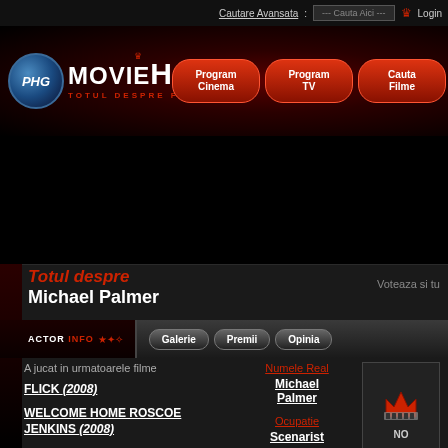Cautare Avansata : --- Cauta Aici --- Login
[Figure (logo): MovieHouse - Totul Despre Filme logo with PHG globe icon and red nav buttons: Program Cinema, Program TV, Cauta Filme]
Totul despre Michael Palmer
Voteaza si tu
[Figure (infographic): Actor Info tab bar with Galerie, Premii, Opinia tabs]
A jucat in urmatoarele filme
FLICK (2008)
WELCOME HOME ROSCOE JENKINS (2008)
Numele Real
Michael Palmer
Ocupatie
Scenarist
[Figure (illustration): No photo available placeholder with red crown logo and NO text]